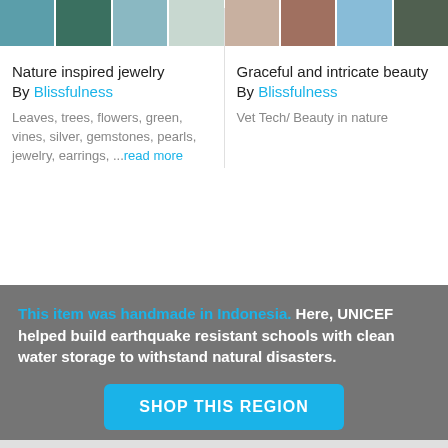[Figure (photo): Four small jewelry product images showing nature-inspired jewelry pieces with teal/green tones]
Nature inspired jewelry
By Blissfulness
Leaves, trees, flowers, green, vines, silver, gemstones, pearls, jewelry, earrings, ...read more
[Figure (photo): Four small jewelry product images showing graceful and intricate beauty pieces]
Graceful and intricate beauty
By Blissfulness
Vet Tech/ Beauty in nature
This item was handmade in Indonesia. Here, UNICEF helped build earthquake resistant schools with clean water storage to withstand natural disasters.
SHOP THIS REGION